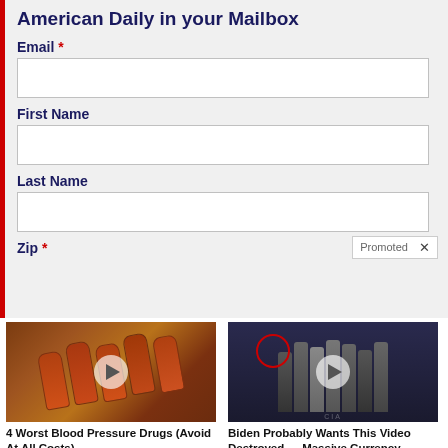American Daily in your Mailbox
Email *
First Name
Last Name
Zip *
[Figure (photo): Thumbnail image of pill bottles with a video play button overlay]
4 Worst Blood Pressure Drugs (Avoid At All Costs)
24,669
[Figure (photo): Thumbnail image of a group of people in formal attire with a red circle highlight and video play button overlay]
Biden Probably Wants This Video Destroyed — Massive Currency Upheaval Has Started
89,637